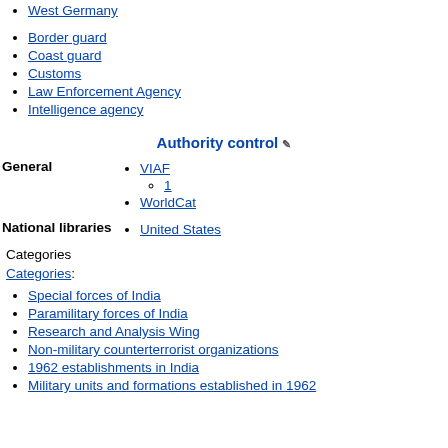West Germany
Border guard
Coast guard
Customs
Law Enforcement Agency
Intelligence agency
Authority control
VIAF
1
WorldCat
United States
Categories
Categories:
Special forces of India
Paramilitary forces of India
Research and Analysis Wing
Non-military counterterrorist organizations
1962 establishments in India
Military units and formations established in 1962